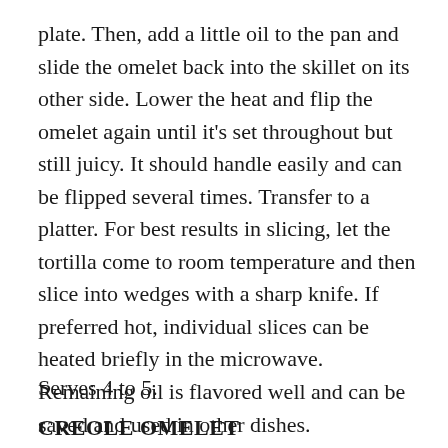plate. Then, add a little oil to the pan and slide the omelet back into the skillet on its other side. Lower the heat and flip the omelet again until it's set throughout but still juicy. It should handle easily and can be flipped several times. Transfer to a platter. For best results in slicing, let the tortilla come to room temperature and then slice into wedges with a sharp knife. If preferred hot, individual slices can be heated briefly in the microwave. Remaining oil is flavored well and can be saved and used in other dishes.
Serves 4 to 5.
CREOLE OMELET